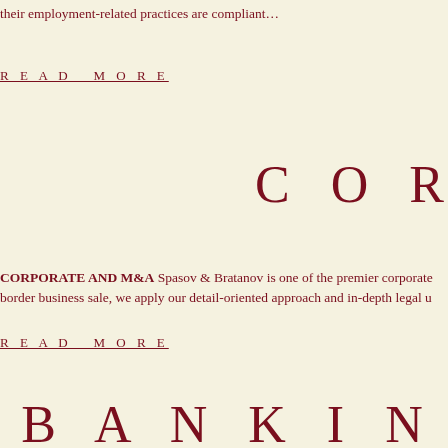their employment-related practices are compliant…
READ MORE
COR
CORPORATE AND M&A Spasov & Bratanov is one of the premier corporate border business sale, we apply our detail-oriented approach and in-depth legal u
READ MORE
BANKING AND